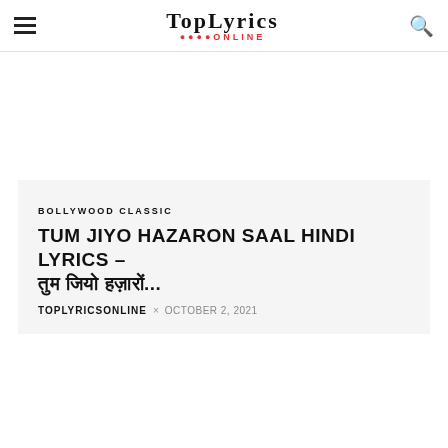TopLyrics Online
BOLLYWOOD CLASSIC
TUM JIYO HAZARON SAAL HINDI LYRICS – तुम जियो हज़ारों साल...
TOPLYRICSONLINE × OCTOBER 2, 2021